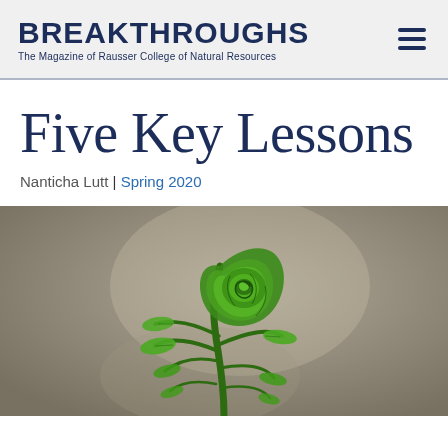BREAKTHROUGHS – The Magazine of Rausser College of Natural Resources
Five Key Lessons
Nanticha Lutt | Spring 2020
[Figure (photo): Close-up photograph of a young fern frond (fiddlehead) unfurling, bright green against a soft grey-brown blurred background.]